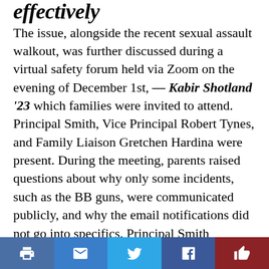effectively (partial/cropped heading)
The issue, alongside the recent sexual assault walkout, was further discussed during a virtual safety forum held via Zoom on the evening of December 1st, which families were invited to attend. Principal Smith, Vice Principal Robert Tynes, and Family Liaison Gretchen Hardina were present. During the meeting, parents raised questions about why only some incidents, such as the BB guns, were communicated publicly, and why the email notifications did not go into specifics. Principal Smith explained that CRLS communicated publicly about the BB gun situation because many students witnessed it, and that they aim to keep the community aware while still maintaining students’ confidentiality and ensuring that “individual situations are going to be addressed individually.”
— Kabir Shotland ’23
Prior to these incidents, the administration had tried to address campus safety by increasing surveillance on and